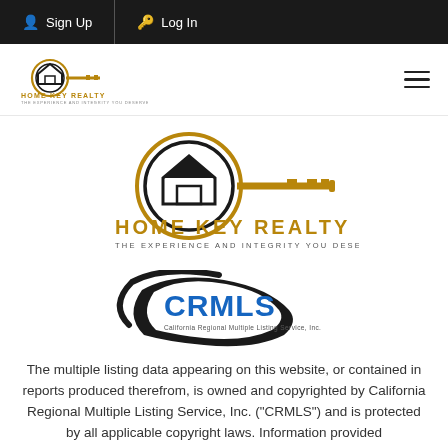Sign Up | Log In
[Figure (logo): Home Key Realty small logo in header with key icon and house, gold and black colors, with text HOME KEY REALTY and tagline THE EXPERIENCE AND INTEGRITY YOU DESERVE]
[Figure (logo): Home Key Realty large logo centered on page with gold circular key and house icon, bold gold text HOME KEY REALTY, tagline THE EXPERIENCE AND INTEGRITY YOU DESERVE]
[Figure (logo): CRMLS logo with blue bold CRMLS text and black curved swoosh, text California Regional Multiple Listing Service, Inc.]
The multiple listing data appearing on this website, or contained in reports produced therefrom, is owned and copyrighted by California Regional Multiple Listing Service, Inc. ("CRMLS") and is protected by all applicable copyright laws. Information provided